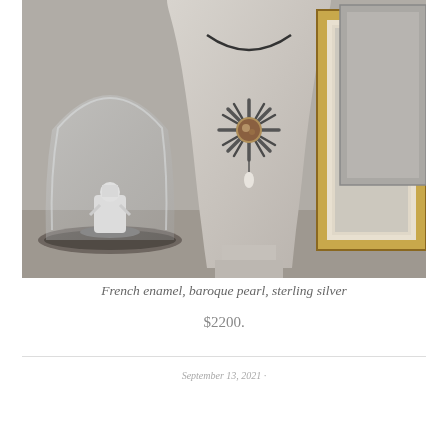[Figure (photo): A jewelry display bust holding a necklace with a starburst-shaped pendant featuring French enamel center, baroque pearl drop, and sterling silver petals. Background shows a white ceramic statue under a glass dome on the left, and gold-framed artwork on the right.]
French enamel, baroque pearl, sterling silver
$2200.
September 13, 2021 ·